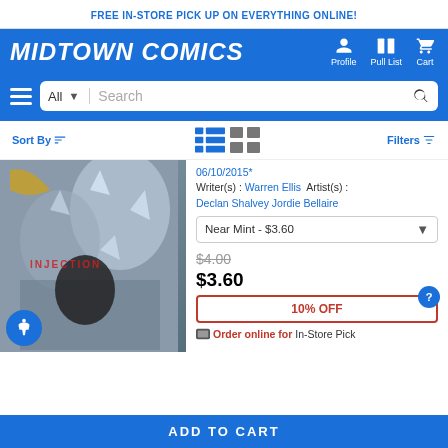FREE IN-STORE PICK UP ON EVERYTHING ONLINE!
[Figure (logo): Midtown Comics logo in white italic bold text on blue background with Profile, Pull List, and Cart navigation icons]
[Figure (screenshot): Search bar with All dropdown, Search placeholder text, and search icon]
Sort By | Filters
[Figure (photo): Comic book cover for Injection by Warren Ellis, Declan Shalvey, Jordie Bellaire]
06/10/2015*
Writer(s) : Warren Ellis  Artist(s) : Declan Shalvey Jordie Bellaire
Near Mint - $3.60
$4.00
$3.60
10% OFF
Order online for In-Store Pick
ADD TO CART